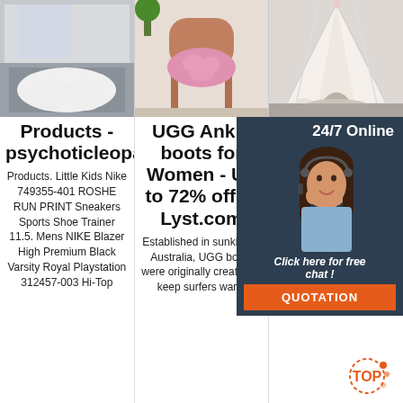[Figure (photo): Three product images in a row: white sheepskin rug, pink fluffy stool seat on a wooden chair, and a white teepee tent with stuffed animals]
Products - psychoticleopard.com
Products. Little Kids Nike 749355-401 ROSHE RUN PRINT Sneakers Sports Shoe Trainer 11.5. Mens NIKE Blazer High Premium Black Varsity Royal Playstation 312457-003 Hi-Top
UGG Ankle boots for Women - Up to 72% off at Lyst.com
Established in sunkissed Australia, UGG boots were originally created to keep surfers warm
Footwear for Women, Men & Kids
Fashion footwear for women, men & kids. Find warm, comfortable boots, shoes and more from SOREL online.
[Figure (photo): Customer service representative woman with headset smiling, with 24/7 Online banner, Click here for free chat!, and QUOTATION button overlay]